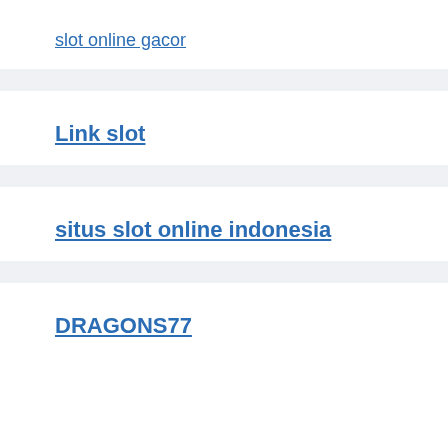slot online gacor
Link slot
situs slot online indonesia
DRAGONS77